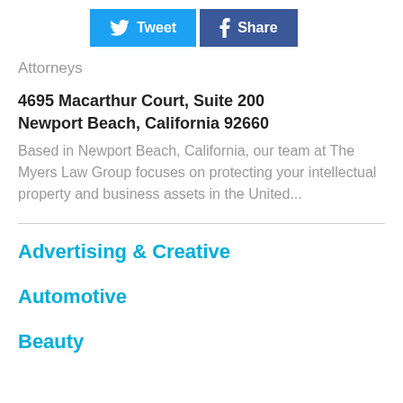[Figure (screenshot): Social media sharing buttons: Twitter Tweet button (light blue) and Facebook Share button (dark blue)]
Attorneys
4695 Macarthur Court, Suite 200
Newport Beach, California 92660
Based in Newport Beach, California, our team at The Myers Law Group focuses on protecting your intellectual property and business assets in the United...
Advertising & Creative
Automotive
Beauty